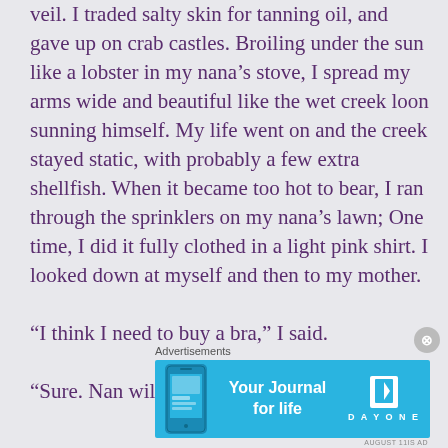veil. I traded salty skin for tanning oil, and gave up on crab castles. Broiling under the sun like a lobster in my nana’s stove, I spread my arms wide and beautiful like the wet creek loon sunning himself. My life went on and the creek stayed static, with probably a few extra shellfish. When it became too hot to bear, I ran through the sprinklers on my nana’s lawn; One time, I did it fully clothed in a light pink shirt. I looked down at myself and then to my mother.
“I think I need to buy a bra,” I said.
“Sure. Nan will come.”
Advertisements
[Figure (other): Advertisement banner for Day One journal app with blue background, phone image on left, text 'Your Journal for life' in center, and Day One book logo on right]